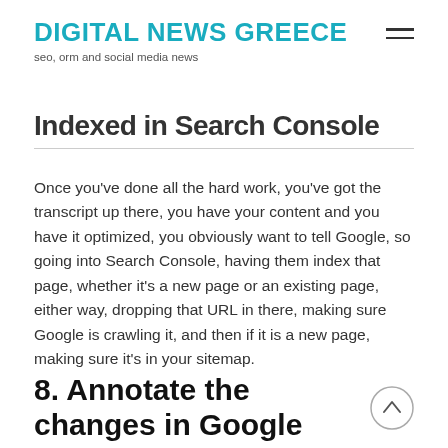DIGITAL NEWS GREECE
seo, orm and social media news
Indexed in Search Console
Once you've done all the hard work, you've got the transcript up there, you have your content and you have it optimized, you obviously want to tell Google, so going into Search Console, having them index that page, whether it's a new page or an existing page, either way, dropping that URL in there, making sure Google is crawling it, and then if it is a new page, making sure it's in your sitemap.
8. Annotate the changes in Google Analytics